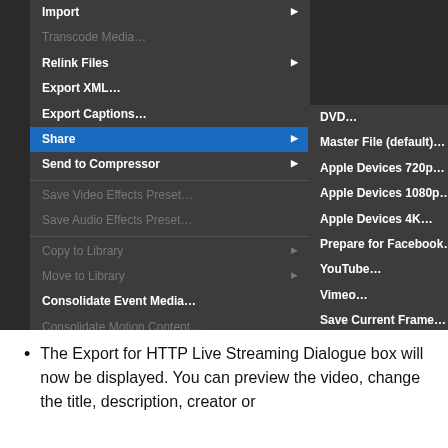[Figure (screenshot): macOS Final Cut Pro menu showing File > Share > Export for HTTP Live Streaming... selected, with a submenu listing DVD, Master File, Apple Devices options, YouTube, Vimeo, Save Current Frame, Export Image Sequence, Export for HTTP Live Streaming (highlighted), and Add Destination. The left menu shows Import, Relink Files, Export XML, Export Captions, Share (highlighted), Send to Compressor, and other file operations.]
The Export for HTTP Live Streaming Dialogue box will now be displayed. You can preview the video, change the title, description, creator or